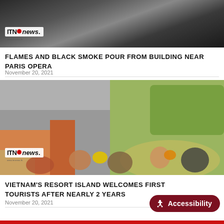[Figure (photo): News image showing flames and black smoke pouring from a building near Paris Opera, with ITN News watermark logo]
FLAMES AND BLACK SMOKE POUR FROM BUILDING NEAR PARIS OPERA
November 20, 2021
[Figure (photo): News image showing people wearing masks being welcomed with flowers at an airport, with a colorful airplane in background and ITN News watermark logo]
VIETNAM'S RESORT ISLAND WELCOMES FIRST TOURISTS AFTER NEARLY 2 YEARS
November 20, 2021